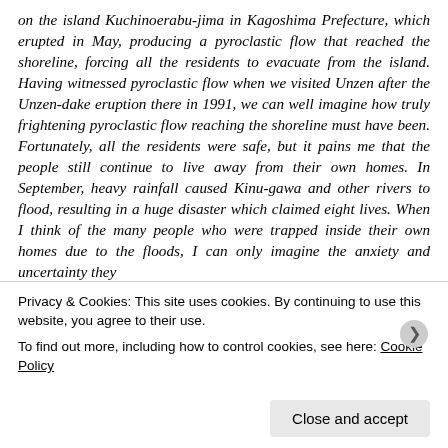on the island Kuchinoerabu-jima in Kagoshima Prefecture, which erupted in May, producing a pyroclastic flow that reached the shoreline, forcing all the residents to evacuate from the island. Having witnessed pyroclastic flow when we visited Unzen after the Unzen-dake eruption there in 1991, we can well imagine how truly frightening pyroclastic flow reaching the shoreline must have been. Fortunately, all the residents were safe, but it pains me that the people still continue to live away from their own homes. In September, heavy rainfall caused Kinu-gawa and other rivers to flood, resulting in a huge disaster which claimed eight lives. When I think of the many people who were trapped inside their own homes due to the floods, I can only imagine the anxiety and uncertainty they
Privacy & Cookies: This site uses cookies. By continuing to use this website, you agree to their use.
To find out more, including how to control cookies, see here: Cookie Policy
Close and accept